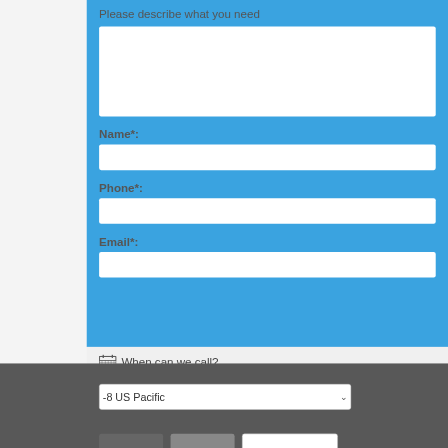Please describe what you need
Name*:
Phone*:
Email*:
When can we call?
-8 US Pacific